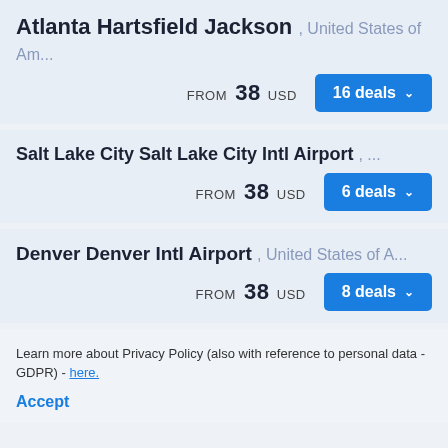Atlanta Hartsfield Jackson , United States of Am...
FROM 38 USD
16 deals
Salt Lake City Salt Lake City Intl Airport , ...
FROM 38 USD
6 deals
Denver Denver Intl Airport , United States of A...
FROM 38 USD
8 deals
Learn more about Privacy Policy (also with reference to personal data - GDPR) - here.
Accept